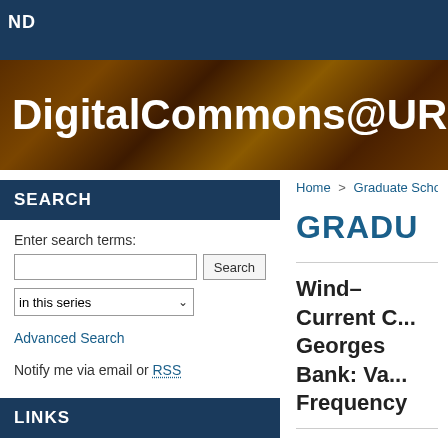ND
DigitalCommons@URI
Home > Graduate School of Ocea...
GRADU
SEARCH
Enter search terms:
LINKS
Advanced Search
Notify me via email or RSS
GSO Faculty & Scientist Publications Website
Wind–Current C... Georges Bank: Va... Frequency